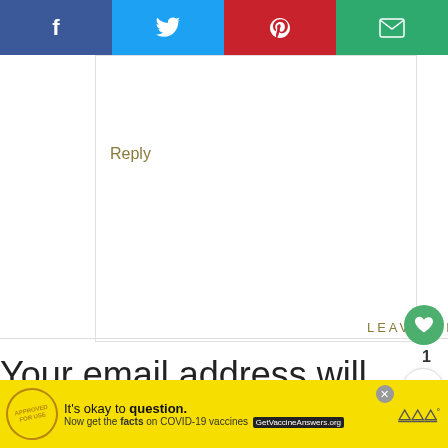[Figure (other): Social share bar with Facebook, Twitter, Pinterest, and Email buttons]
recipe, Kim!
Reply
LEAVE A REPLY
Your email address will not be published. Required fields are marked *
[Figure (other): What's Next panel showing Ginger Curry Deviled Eggs]
[Figure (other): Advertisement banner: It's okay to question. Now get the facts on COVID-19 vaccines. GetVaccineAnswers.org]